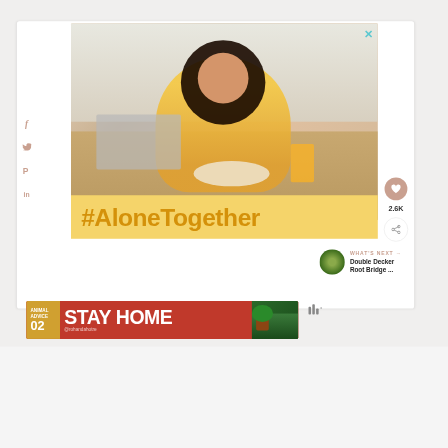[Figure (screenshot): Screenshot of a webpage showing a social media/blog post with a woman eating at a table with a laptop, with a yellow bar showing #AloneTogether hashtag. Social sharing icons on the left (Facebook, Twitter, Pinterest, LinkedIn). Heart/like button showing 2.6K on the right. 'What's Next' section showing Double Decker Root Bridge thumbnail. Close X button top right of image. At bottom, a red ad banner reading 'ANIMAL ADVICE 02 STAY HOME @rohandahotre' with illustrated mountains/mushrooms.]